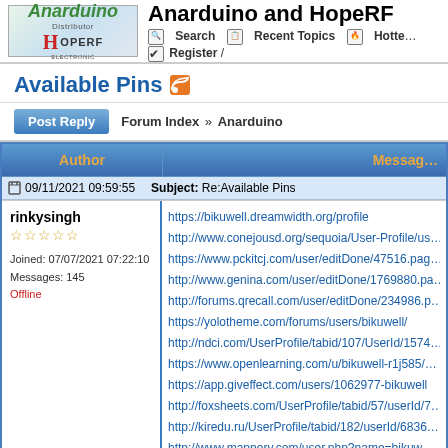Anarduino and HopeRF
Available Pins
Post Reply | Forum Index » Anarduino
| Author | Message |
| --- | --- |
| 09/11/2021 09:59:55 | Subject: Re:Available Pins |
| rinkysingh
Joined: 07/07/2021 07:22:10
Messages: 145
Offline | https://bikuwell.dreamwidth.org/profile
http://www.conejousd.org/sequoia/User-Profile/us...
https://www.pckitcj.com/user/editDone/47516.pag...
http://www.genina.com/user/editDone/1769880.pa...
http://forums.qrecall.com/user/editDone/234986.p...
https://yolotheme.com/forums/users/bikuwell/
http://ndci.com/UserProfile/tabid/107/UserId/1574...
https://www.openlearning.com/u/bikuwell-r1j585/...
https://app.giveffect.com/users/1062977-bikuwell
http://foxsheets.com/UserProfile/tabid/57/userId/7...
http://kiredu.ru/UserProfile/tabid/182/userId/6836...
http://www.mappery.com/user.php?name=bikuw... |